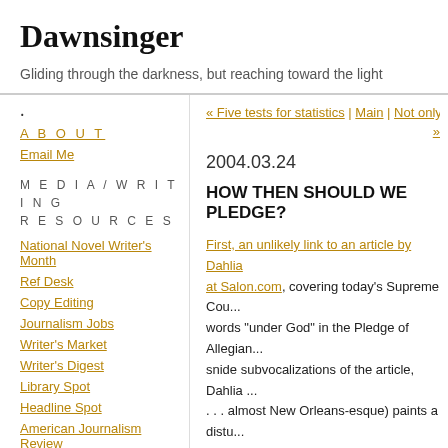Dawnsinger
Gliding through the darkness, but reaching toward the light
· A B O U T | « Five tests for statistics | Main | Not only… »
Email Me
MEDIA/WRITING RESOURCES
National Novel Writer's Month
Ref Desk
Copy Editing
Journalism Jobs
Writer's Market
Writer's Digest
Library Spot
Headline Spot
American Journalism Review
2004.03.24
HOW THEN SHOULD WE PLEDGE?
First, an unlikely link to an article by Dahlia at Salon.com, covering today's Supreme Court words "under God" in the Pledge of Allegian... snide subvocalizations of the article, Dahlia ... . . . almost New Orleans-esque) paints a distu... befuddled . . . knowing the ruling it is expect... about for a bit of solid reasoning to deliver it